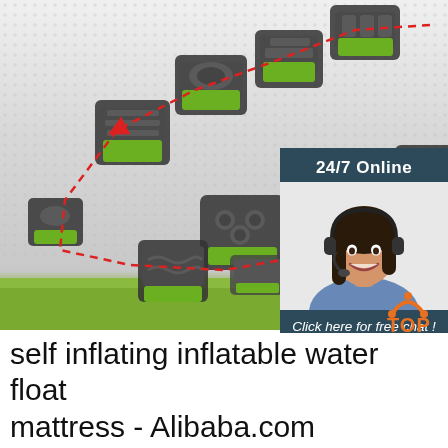[Figure (illustration): Inflatable obstacle course structures shown in an isometric arrangement with red dashed arrows indicating a path or sequence. Multiple inflatable units with green and dark grey/black color scheme are arranged in a winding pattern. A silhouette of a person stands among them for scale. Background is a grey textured surface.]
[Figure (photo): Chat widget overlay in the top right corner. Dark blue/grey background with text '24/7 Online', photo of a smiling woman with dark hair wearing a headset and blue shirt, text 'Click here for free chat !' and an orange button labeled 'QUOTATION'.]
self inflating inflatable water float mattress - Alibaba.com